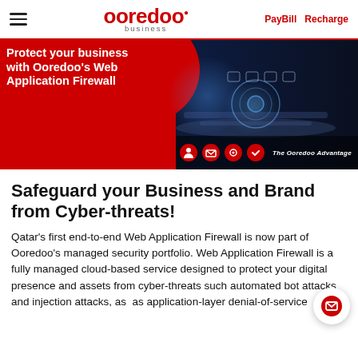ooredoo business — PayBill  Recharge
[Figure (screenshot): Hero banner showing 'Protect your business with Ooredoo's Web Application Firewall' on a red background with a technology/cybersecurity themed image on the right, including 'The Ooredoo Advantage' label.]
Safeguard your Business and Brand from Cyber-threats!
Qatar's first end-to-end Web Application Firewall is now part of Ooredoo's managed security portfolio. Web Application Firewall is a fully managed cloud-based service designed to protect your digital presence and assets from cyber-threats such automated bot attacks and injection attacks, as as application-layer denial-of-service